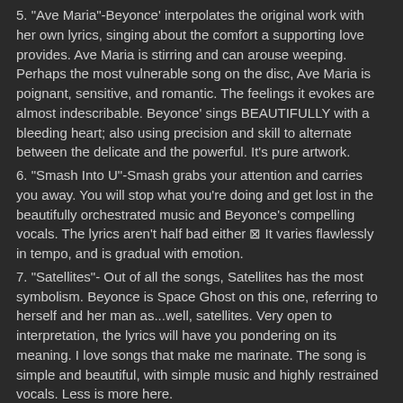5. "Ave Maria"-Beyonce' interpolates the original work with her own lyrics, singing about the comfort a supporting love provides. Ave Maria is stirring and can arouse weeping. Perhaps the most vulnerable song on the disc, Ave Maria is poignant, sensitive, and romantic. The feelings it evokes are almost indescribable. Beyonce' sings BEAUTIFULLY with a bleeding heart; also using precision and skill to alternate between the delicate and the powerful. It's pure artwork.
6. "Smash Into U"-Smash grabs your attention and carries you away. You will stop what you're doing and get lost in the beautifully orchestrated music and Beyonce's compelling vocals. The lyrics aren't half bad either ☒ It varies flawlessly in tempo, and is gradual with emotion.
7. "Satellites"- Out of all the songs, Satellites has the most symbolism. Beyonce is Space Ghost on this one, referring to herself and her man as...well, satellites. Very open to interpretation, the lyrics will have you pondering on its meaning. I love songs that make me marinate. The song is simple and beautiful, with simple music and highly restrained vocals. Less is more here.
8. "That's Why You're Beautiful"- another symbolic and